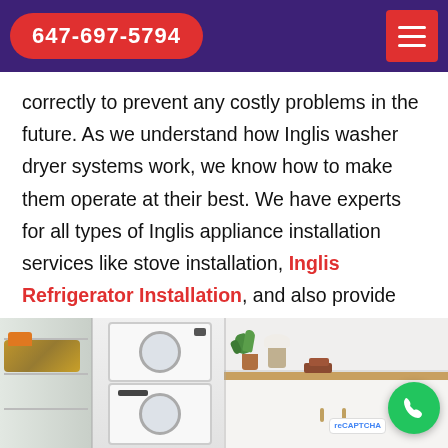647-697-5794
correctly to prevent any costly problems in the future. As we understand how Inglis washer dryer systems work, we know how to make them operate at their best. We have experts for all types of Inglis appliance installation services like stove installation, Inglis Refrigerator Installation, and also provide commercial and residential appliance repair services.
[Figure (photo): Two-panel photo: left panel shows an open refrigerator with a wicker basket and stacked white washer/dryer units; right panel shows a white laundry room with cabinets, a wood countertop, and a potted plant.]